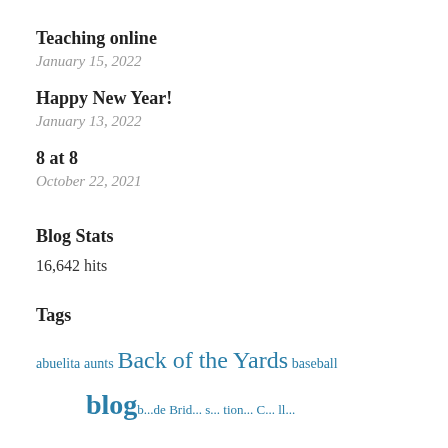Teaching online
January 15, 2022
Happy New Year!
January 13, 2022
8 at 8
October 22, 2021
Blog Stats
16,642 hits
Tags
abuelita aunts Back of the Yards baseball blog b... Brid... s... tion... C... ll...